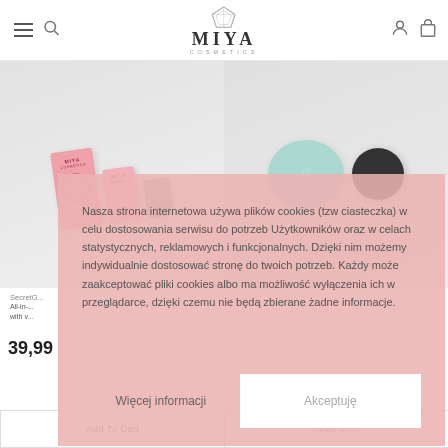Miya Cosmetics — navigation header with menu, search, logo, account and cart icons
[Figure (photo): Left product: Miya Cosmetics pink boxes/tubes on light grey background]
[Figure (photo): Right product: mint-green and black cosmetic jars on grey background]
SecretG... All-in-... with v...
39,99
Nasza strona internetowa używa plików cookies (tzw ciasteczka) w celu dostosowania serwisu do potrzeb Użytkowników oraz w celach statystycznych, reklamowych i funkcjonalnych. Dzięki nim możemy indywidualnie dostosować stronę do twoich potrzeb. Każdy może zaakceptować pliki cookies albo ma możliwość wyłączenia ich w przeglądarce, dzięki czemu nie będą zbierane żadne informacje.
Więcej informacji
Akceptuję
Add To Cart
Read More